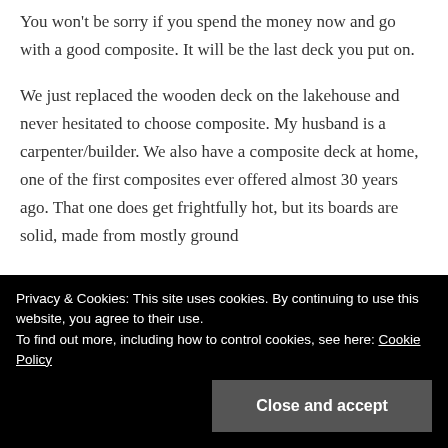You won't be sorry if you spend the money now and go with a good composite. It will be the last deck you put on.
We just replaced the wooden deck on the lakehouse and never hesitated to choose composite. My husband is a carpenter/builder. We also have a composite deck at home, one of the first composites ever offered almost 30 years ago. That one does get frightfully hot, but its boards are solid, made from mostly ground
Privacy & Cookies: This site uses cookies. By continuing to use this website, you agree to their use.
To find out more, including how to control cookies, see here: Cookie Policy
Close and accept
plastic, but has a hollow core. This allows it to